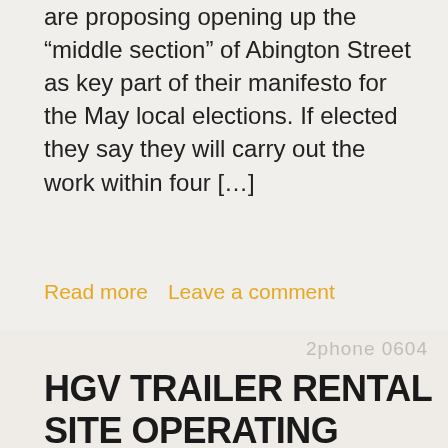are proposing opening up the “middle section” of Abington Street as key part of their manifesto for the May local elections. If elected they say they will carry out the work within four […]
Read more   Leave a comment
[Figure (photo): Faded background photo of trucks/HGVs, with muted warm tones]
HGV TRAILER RENTAL SITE OPERATING ILLEGALLY – MEANS MORE HGVS FOR HUNSBURY